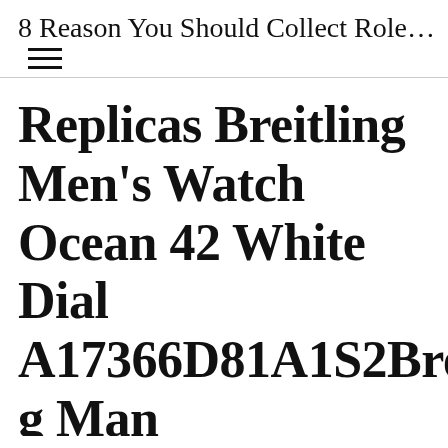8 Reason You Should Collect Role...
Replicas Breitling Men’s Watch Ocean 42 White Dial A17366D81A1S2Breitling Man XB0170E4/BF29/257S/X20D.4 Avengers Horizon Officially...